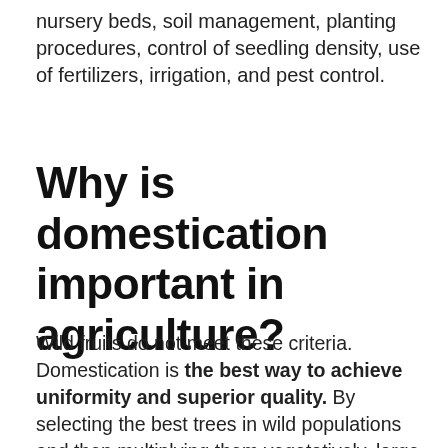nursery beds, soil management, planting procedures, control of seedling density, use of fertilizers, irrigation, and pest control.
Why is domestication important in agriculture?
Wild fruits do not meet these criteria. Domestication is the best way to achieve uniformity and superior quality. By selecting the best trees in wild populations and then multiplying them vegetatively, large numbers of genetically identical trees